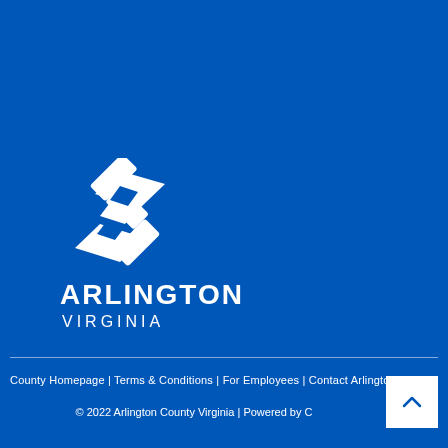[Figure (logo): Arlington Virginia government logo — white diamond/arrow shapes forming an S-like mark above the text ARLINGTON VIRGINIA on a blue background]
County Homepage | Terms & Conditions | For Employees | Contact Arlington
© 2022 Arlington County Virginia | Powered by CivicPlus